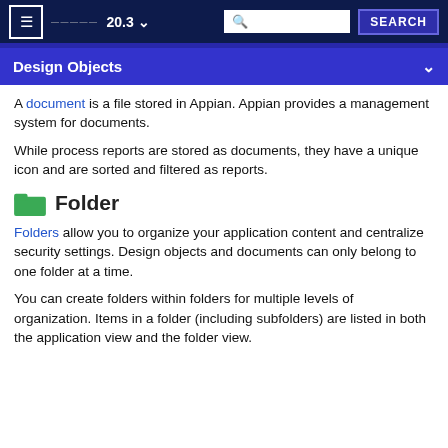≡  20.3 ∨  [search box]  SEARCH
Design Objects
A document is a file stored in Appian. Appian provides a management system for documents.
While process reports are stored as documents, they have a unique icon and are sorted and filtered as reports.
Folder
Folders allow you to organize your application content and centralize security settings. Design objects and documents can only belong to one folder at a time.
You can create folders within folders for multiple levels of organization. Items in a folder (including subfolders) are listed in both the application view and the folder view.